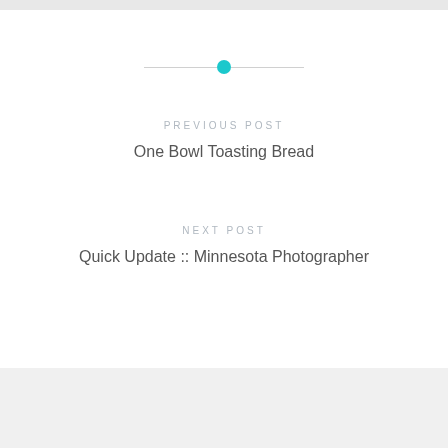[Figure (other): Horizontal divider line with a teal/cyan circular dot centered in the middle]
PREVIOUS POST
One Bowl Toasting Bread
NEXT POST
Quick Update :: Minnesota Photographer